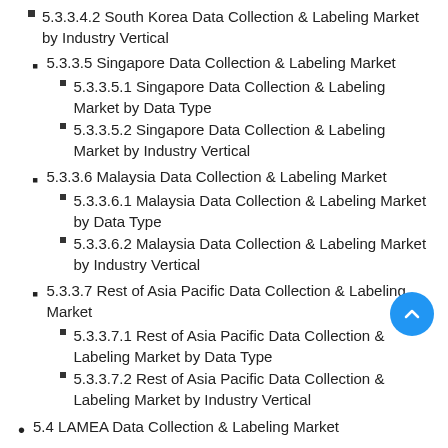5.3.3.4.2 South Korea Data Collection & Labeling Market by Industry Vertical
5.3.3.5 Singapore Data Collection & Labeling Market
5.3.3.5.1 Singapore Data Collection & Labeling Market by Data Type
5.3.3.5.2 Singapore Data Collection & Labeling Market by Industry Vertical
5.3.3.6 Malaysia Data Collection & Labeling Market
5.3.3.6.1 Malaysia Data Collection & Labeling Market by Data Type
5.3.3.6.2 Malaysia Data Collection & Labeling Market by Industry Vertical
5.3.3.7 Rest of Asia Pacific Data Collection & Labeling Market
5.3.3.7.1 Rest of Asia Pacific Data Collection & Labeling Market by Data Type
5.3.3.7.2 Rest of Asia Pacific Data Collection & Labeling Market by Industry Vertical
5.4 LAMEA Data Collection & Labeling Market
5.4.1 LAMEA Data Collection & Labeling Market by Data Type